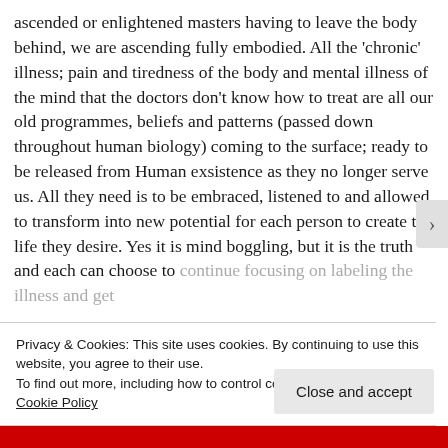ascended or enlightened masters having to leave the body behind, we are ascending fully embodied. All the 'chronic' illness; pain and tiredness of the body and mental illness of the mind that the doctors don't know how to treat are all our old programmes, beliefs and patterns (passed down throughout human biology) coming to the surface; ready to be released from Human exsistence as they no longer serve us. All they need is to be embraced, listened to and allowed to transform into new potential for each person to create the life they desire. Yes it is mind boggling, but it is the truth and each can choose to continue focusing on labeling the illness and get
Privacy & Cookies: This site uses cookies. By continuing to use this website, you agree to their use.
To find out more, including how to control cookies, see here: Cookie Policy
Close and accept